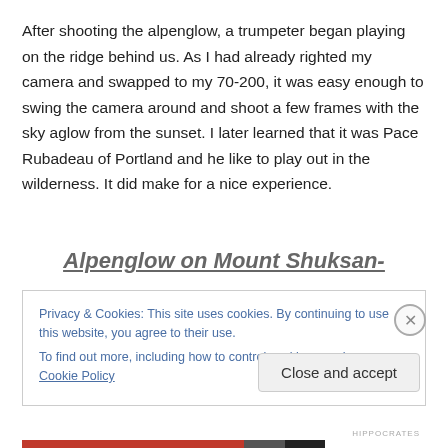After shooting the alpenglow, a trumpeter began playing on the ridge behind us. As I had already righted my camera and swapped to my 70-200, it was easy enough to swing the camera around and shoot a few frames with the sky aglow from the sunset. I later learned that it was Pace Rubadeau of Portland and he like to play out in the wilderness. It did make for a nice experience.
Alpenglow on Mount Shuksan-
Privacy & Cookies: This site uses cookies. By continuing to use this website, you agree to their use.
To find out more, including how to control cookies, see here: Cookie Policy
Close and accept